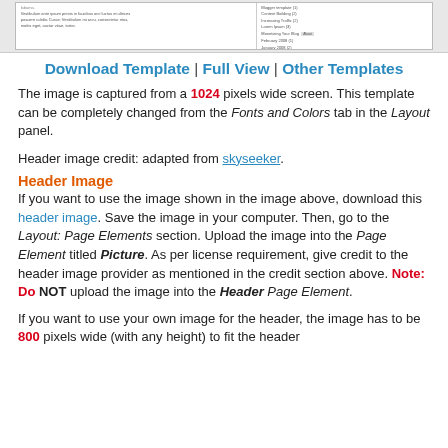[Figure (screenshot): Screenshot of a blog template showing sidebar with archive links and an About section]
Download Template | Full View | Other Templates
The image is captured from a 1024 pixels wide screen. This template can be completely changed from the Fonts and Colors tab in the Layout panel.
Header image credit: adapted from skyseeker.
Header Image
If you want to use the image shown in the image above, download this header image. Save the image in your computer. Then, go to the Layout: Page Elements section. Upload the image into the Page Element titled Picture. As per license requirement, give credit to the header image provider as mentioned in the credit section above. Note: Do NOT upload the image into the Header Page Element.
If you want to use your own image for the header, the image has to be 800 pixels wide (with any height) to fit the header